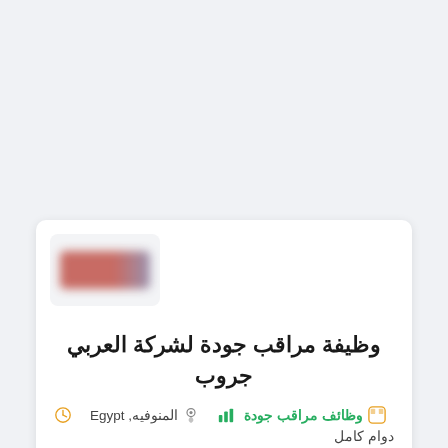[Figure (other): Blurred company logo with red/purple coloring on light gray background card top area]
وظيفة مراقب جودة لشركة العربي جروب
وظائف مراقب جودة  المنوفيه, Egypt  دوام كامل